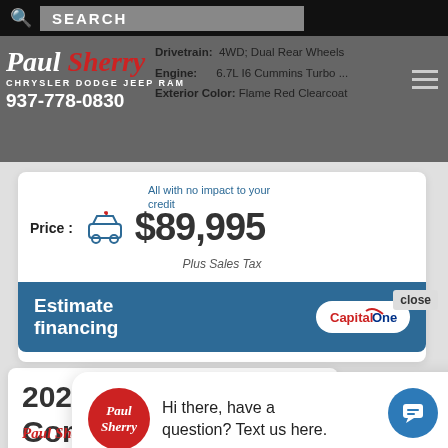SEARCH
[Figure (logo): Paul Sherry Chrysler Dodge Jeep RAM dealership logo with phone number 937-778-0830]
Drivetrain: 4WD; Dual Rear Wheels
Engine: 6.7L I6 Cummins Turbo ...
Exterior Color: Flame Red Clearcoat
Price : $89,995 Plus Sales Tax
All with no impact to your credit
[Figure (infographic): Estimate financing banner with Capital One logo]
close
Hi there, have a question? Text us here.
202 Commercial Bay Bridge Box Truck | 30497T
[Figure (logo): Paul Sherry Jeep Dodge RAM dealership logos at bottom]